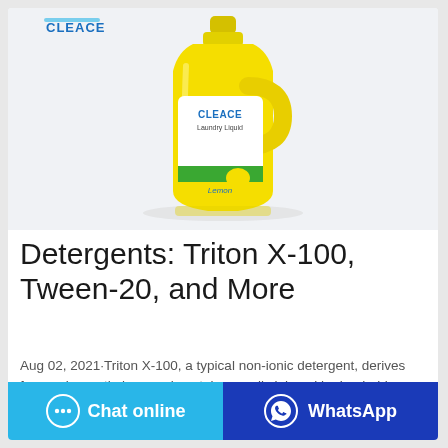[Figure (photo): Yellow Cleace brand laundry liquid detergent bottle with lemon scent design and green/blue label, on light grey background with Cleace logo in top left corner]
Detergents: Triton X-100, Tween-20, and More
Aug 02, 2021·Triton X-100, a typical non-ionic detergent, derives from polyoxyethylene and contains an alkylphenyl hydrophobic group. Triton X-100 is